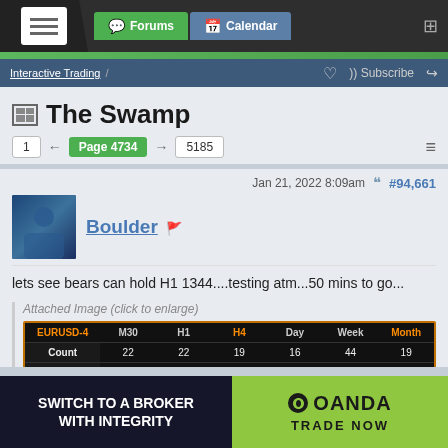Forums | Calendar
Interactive Trading / Subscribe
The Swamp
Page 4734 | 1 | 5185
Jan 21, 2022 8:09am | #94,661
Boulder
lets see bears can hold H1 1344....testing atm...50 mins to go...
Attached Image (click to enlarge)
| EURUSD-4 | M30 | H1 | H4 | Day | Week | Month |
| --- | --- | --- | --- | --- | --- | --- |
| Count | 22 | 22 | 19 | 16 | 44 | 19 |
| Trend | Up | Down | Down | Up | Down | Up |
| TrendStop | 1.13200 | 1.13447 | 1.13801 | 1.12544 | 1.18104 | 1.11878 |
SWITCH TO A BROKER WITH INTEGRITY | OANDA TRADE NOW